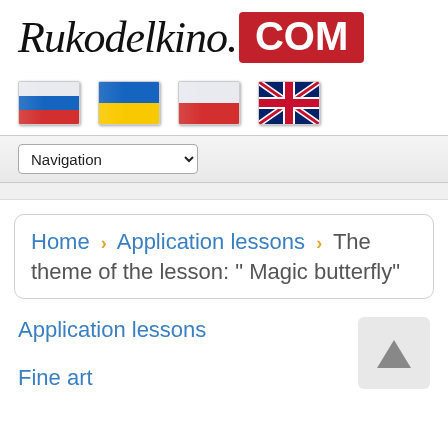Rukodelkino. COM
[Figure (illustration): Four country flags in a row: Russian flag, Ukrainian flag, Polish flag, and UK flag]
Navigation (dropdown)
Home › Application lessons › The theme of the lesson: " Magic butterfly"
Application lessons
Fine art